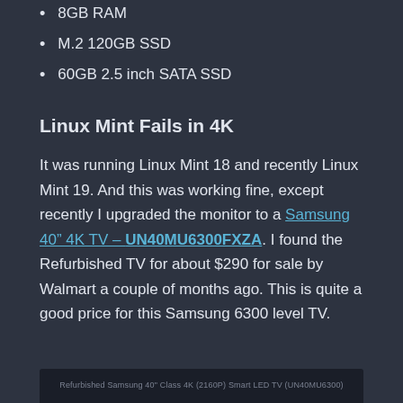8GB RAM
M.2 120GB SSD
60GB 2.5 inch SATA SSD
Linux Mint Fails in 4K
It was running Linux Mint 18 and recently Linux Mint 19. And this was working fine, except recently I upgraded the monitor to a Samsung 40” 4K TV – UN40MU6300FXZA. I found the Refurbished TV for about $290 for sale by Walmart a couple of months ago. This is quite a good price for this Samsung 6300 level TV.
[Figure (photo): Partial image strip at the bottom showing a refurbished Samsung 40-inch 4K TV product listing]